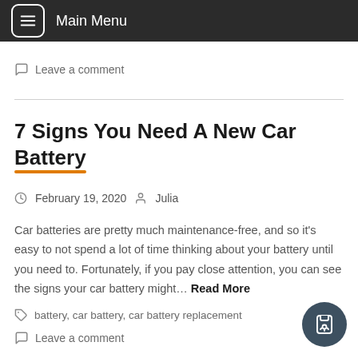Main Menu
Leave a comment
7 Signs You Need A New Car Battery
February 19, 2020  Julia
Car batteries are pretty much maintenance-free, and so it's easy to not spend a lot of time thinking about your battery until you need to. Fortunately, if you pay close attention, you can see the signs your car battery might… Read More
battery, car battery, car battery replacement
Leave a comment